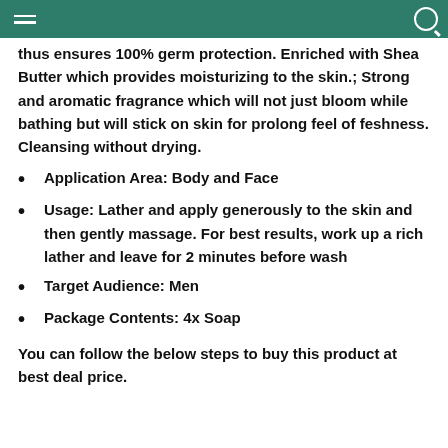thus ensures 100% germ protection. Enriched with Shea Butter which provides moisturizing to the skin.; Strong and aromatic fragrance which will not just bloom while bathing but will stick on skin for prolong feel of feshness. Cleansing without drying.
Application Area: Body and Face
Usage: Lather and apply generously to the skin and then gently massage. For best results, work up a rich lather and leave for 2 minutes before wash
Target Audience: Men
Package Contents: 4x Soap
You can follow the below steps to buy this product at best deal price.